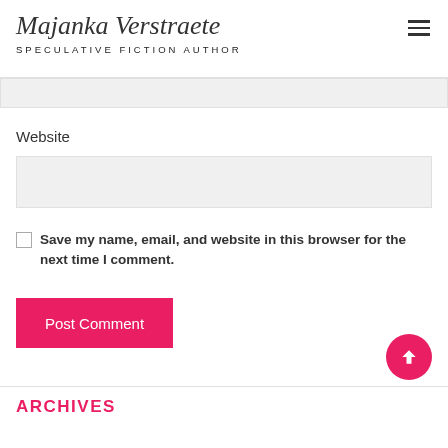Majanka Verstraete
SPECULATIVE FICTION AUTHOR
Website
Save my name, email, and website in this browser for the next time I comment.
Post Comment
ARCHIVES